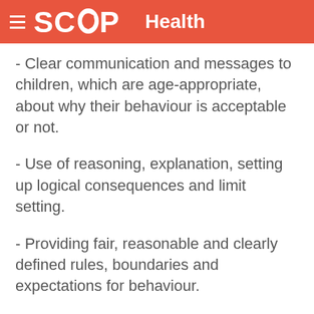SCOOP Health
- Clear communication and messages to children, which are age-appropriate, about why their behaviour is acceptable or not.
- Use of reasoning, explanation, setting up logical consequences and limit setting.
- Providing fair, reasonable and clearly defined rules, boundaries and expectations for behaviour.
- Consistently following behaviours with appropriate consequences  rewards or mild non-physical punishments such as time-out  and having a ratio of